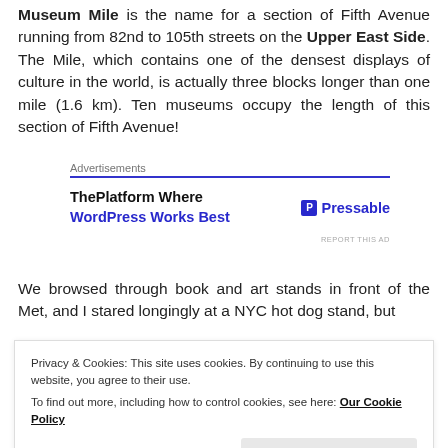Museum Mile is the name for a section of Fifth Avenue running from 82nd to 105th streets on the Upper East Side. The Mile, which contains one of the densest displays of culture in the world, is actually three blocks longer than one mile (1.6 km). Ten museums occupy the length of this section of Fifth Avenue!
[Figure (other): Advertisement banner: ThePlatform Where WordPress Works Best — Pressable]
We browsed through book and art stands in front of the Met, and I stared longingly at a NYC hot dog stand, but
Privacy & Cookies: This site uses cookies. By continuing to use this website, you agree to their use. To find out more, including how to control cookies, see here: Our Cookie Policy